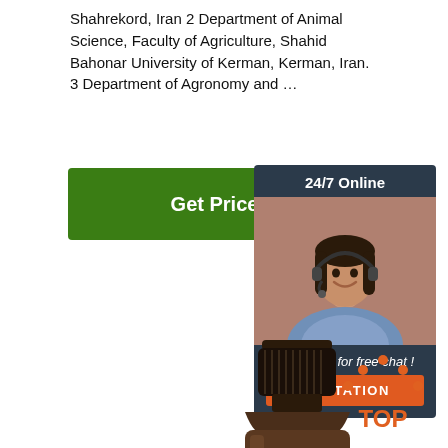Shahrekord, Iran 2 Department of Animal Science, Faculty of Agriculture, Shahid Bahonar University of Kerman, Kerman, Iran. 3 Department of Agronomy and ...
[Figure (other): Green 'Get Price' button]
[Figure (other): 24/7 Online chat widget with customer service representative photo, 'Click here for free chat!' text, and orange QUOTATION button]
[Figure (photo): Brown glass bottle of Cananga odorata essential oil, 10ml, with decorative fleur-de-lis label]
[Figure (other): Orange TOP badge/arrow icon]